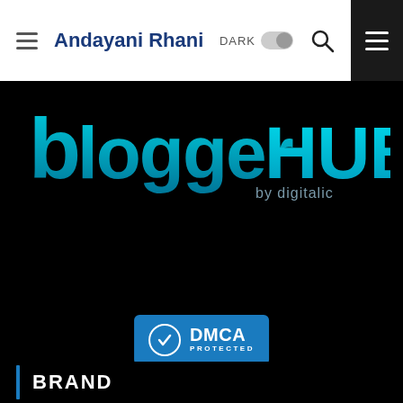Andayani Rhani — DARK toggle, search icon, hamburger menu
[Figure (logo): bloggerHUB by digitalic logo on black background — teal and cyan gradient lettering]
[Figure (logo): DMCA Protected badge — blue badge with checkmark circle and DMCA PROTECTED text]
BRAND